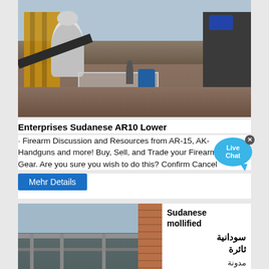[Figure (photo): Industrial construction site with orange scaffolding, cone-shaped machinery, workers, a blue barrel, conveyor belt, and rocky ground.]
Enterprises Sudanese AR10 Lower
· Firearm Discussion and Resources from AR-15, AK- Handguns and more! Buy, Sell, and Trade your Firearms and Gear. Are you sure you wish to do this? Confirm Cancel
Mehr Details
[Figure (photo): Industrial factory site with steel frame structure, red circular machinery part, brick wall on right side.]
Sudanese mollified
سودانية ثائرة
مدونة سودانية اجتماعية ثائرة Sudanese Blogger,